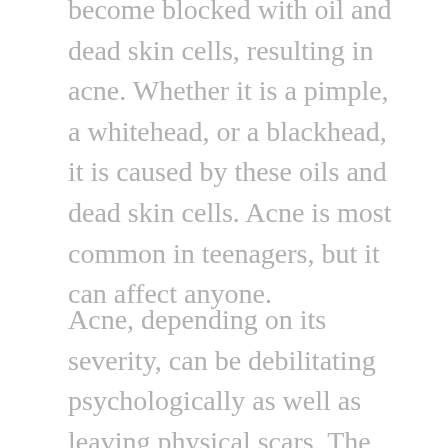become blocked with oil and dead skin cells, resulting in acne. Whether it is a pimple, a whitehead, or a blackhead, it is caused by these oils and dead skin cells. Acne is most common in teenagers, but it can affect anyone.
Acne, depending on its severity, can be debilitating psychologically as well as leaving physical scars. The sooner you can begin treating your acne, the better.